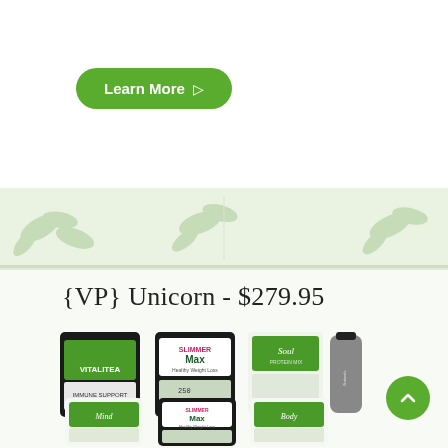[Figure (other): Green 'Learn More' button with arrow icon on white background section]
[Figure (other): Light green decorative banner strip with leaf/plant watermark pattern]
{VP} Unicorn - $279.95
[Figure (photo): Product bundle photo showing multiple dark green/black packages including VITALITEA, SLIMMERMax (x2), Soul, Mind, Body supplement bags and a grey water bottle with Naturals branding]